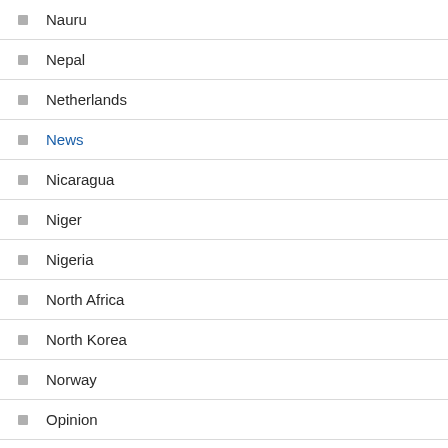Nauru
Nepal
Netherlands
News
Nicaragua
Niger
Nigeria
North Africa
North Korea
Norway
Opinion